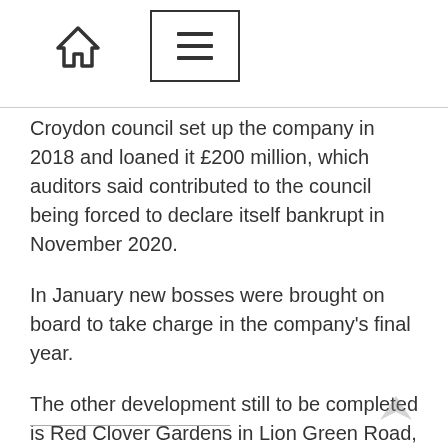[Navigation bar with home icon and menu icon]
Croydon council set up the company in 2018 and loaned it £200 million, which auditors said contributed to the council being forced to declare itself bankrupt in November 2020.
In January new bosses were brought on board to take charge in the company's final year.
The other development still to be completed is Red Clover Gardens in Lion Green Road, Coulsdon. This is the company's largest development of 157 homes which is expected to be finished in February 2023.